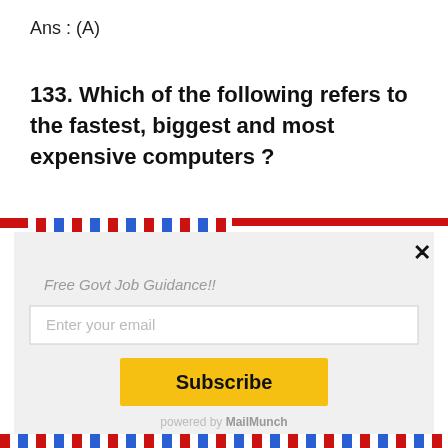Ans : (A)
133. Which of the following refers to the fastest, biggest and most expensive computers ?
[Figure (screenshot): Email subscription modal with airmail border design, showing 'Free Govt Job Guidance!!' title, email input field, Subscribe button, and powered by MailMunch footer]
Free Govt Job Guidance!!
Enter your email
Subscribe
powered by MailMunch